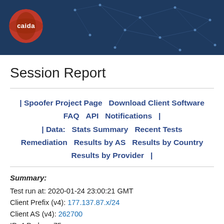[Figure (logo): CAIDA logo with network graph background banner in dark navy blue]
Session Report
| Spoofer Project Page   Download Client Software   FAQ   API   Notifications   | | Data:   Stats Summary   Recent Tests   Remediation   Results by AS   Results by Country   Results by Provider   |
Summary:
Test run at: 2020-01-24 23:00:21 GMT
Client Prefix (v4): 177.137.87.x/24
Client AS (v4): 262700
IPv4 Probes: 75